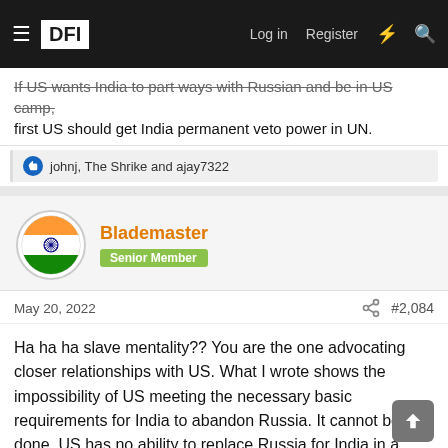DFI — Log in  Register
If US wants India to part ways with Russian and be in US camp, first US should get India permanent veto power in UN.
👍 johnj, The Shrike and ajay7322
Blademaster
Senior Member
May 20, 2022  #2,084
Ha ha ha slave mentality?? You are the one advocating closer relationships with US. What I wrote shows the impossibility of US meeting the necessary basic requirements for India to abandon Russia. It cannot be done. US has no ability to replace Russia for India in a strategic sense.

Shows how clueless you are.
👍 johnj, Roshan, Cheran and 3 others